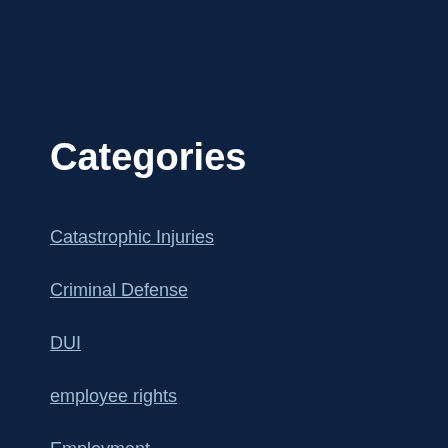Categories
Catastrophic Injuries
Criminal Defense
DUI
employee rights
Employment
Firm News
in Catastrophic Injuries
in Criminal Defense
in Employment
in Personal Injury